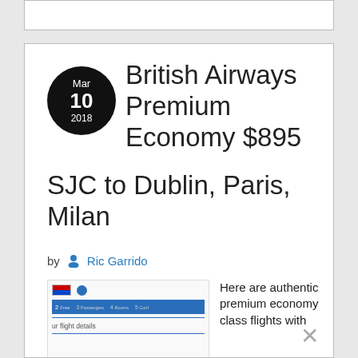British Airways Premium Economy $895 SJC to Dublin, Paris, Milan
by Ric Garrido
[Figure (screenshot): Screenshot of a flight booking webpage showing a progress bar with steps and a section labeled 'ur flight details']
Here are authentic premium economy class flights with British Airways World Traveller Plus on